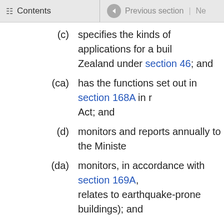Contents | Previous section | Ne
(c) specifies the kinds of applications for a building consent that may be made outside New Zealand under section 46; and
(ca) has the functions set out in section 168A in r... Act; and
(d) monitors and reports annually to the Ministe...
(da) monitors, in accordance with section 169A, ... relates to earthquake-prone buildings); and
(e) publishes guidance information on the requi...
(f) registers building consent authorities that ha... and 3; and
(fa) accepts (and withdraws acceptance of) indep... and
(g) makes determinations under subpart 1 of Pa...
(h) reviews the operation of territorial authoritie... their functions under this Act; and
(i) grants and revokes accreditation of building... body to do so; and
(ia) sets a methodology under section 123 AV fo...